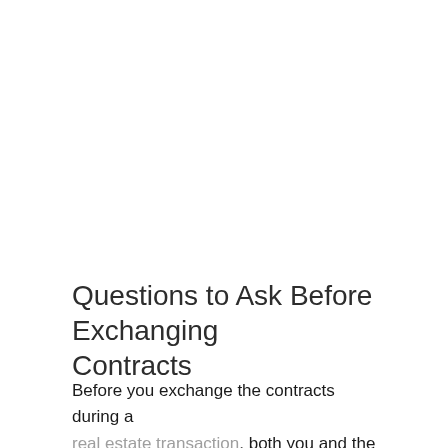Questions to Ask Before Exchanging Contracts
Before you exchange the contracts during a real estate transaction, both you and the